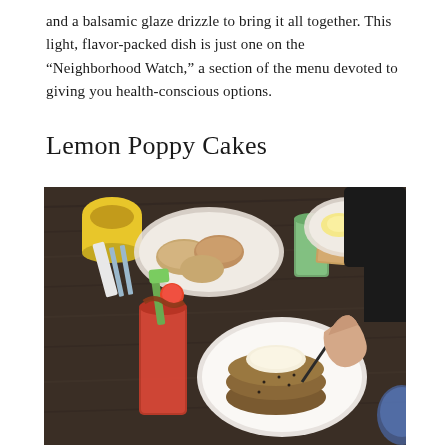and a balsamic glaze drizzle to bring it all together. This light, flavor-packed dish is just one on the “Neighborhood Watch,” a section of the menu devoted to giving you health-conscious options.
Lemon Poppy Cakes
[Figure (photo): Overhead view of a restaurant table with brunch dishes: a plate with lemon poppy seed cakes topped with a round butter pat, a Bloody Mary cocktail garnished with celery and tomato, a bowl of biscuits, a green juice, and plates of eggs and hash. A person's hand holds a fork and knife over the pancake plate.]